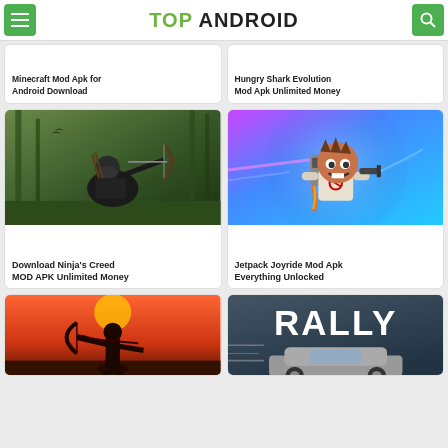TOP ANDROID
Minecraft Mod Apk for Android Download
Hungry Shark Evolution Mod Apk Unlimited Money
[Figure (photo): Ninja's Creed archer character in dark tactical gear drawing a bow, forest background]
Download Ninja's Creed MOD APK Unlimited Money
[Figure (photo): Jetpack Joyride cartoon character with jetpack, colorful background]
Jetpack Joyride Mod Apk Everything Unlocked
[Figure (photo): Shadow archer silhouette against orange/red sunset background]
[Figure (photo): Rally racing car with RALLY text on dark background]